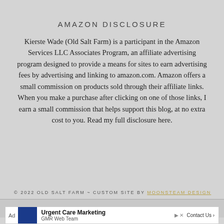AMAZON DISCLOSURE
Kierste Wade (Old Salt Farm) is a participant in the Amazon Services LLC Associates Program, an affiliate advertising program designed to provide a means for sites to earn advertising fees by advertising and linking to amazon.com. Amazon offers a small commission on products sold through their affiliate links. When you make a purchase after clicking on one of those links, I earn a small commission that helps support this blog, at no extra cost to you. Read my full disclosure here.
© 2022 OLD SALT FARM ~ CUSTOM SITE BY MOONSTEAM DESIGN
AN ELITE CAFEMEDIA HOME/DIY PUBLISHER
[Figure (screenshot): Advertisement bar: Ad label, image of a woman, Urgent Care Marketing heading, GMR Web Team subtext, Contact Us button]